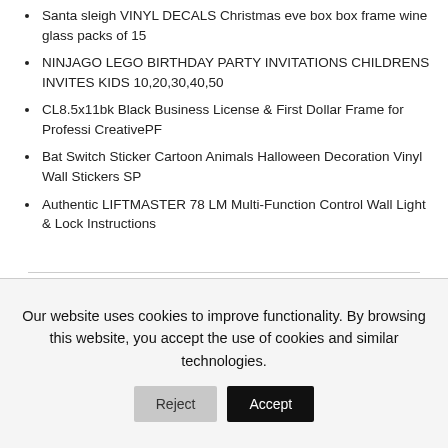Santa sleigh VINYL DECALS Christmas eve box box frame wine glass packs of 15
NINJAGO LEGO BIRTHDAY PARTY INVITATIONS CHILDRENS INVITES KIDS 10,20,30,40,50
CL8.5x11bk Black Business License & First Dollar Frame for Professi CreativePF
Bat Switch Sticker Cartoon Animals Halloween Decoration Vinyl Wall Stickers SP
Authentic LIFTMASTER 78 LM Multi-Function Control Wall Light & Lock Instructions
Our website uses cookies to improve functionality. By browsing this website, you accept the use of cookies and similar technologies.